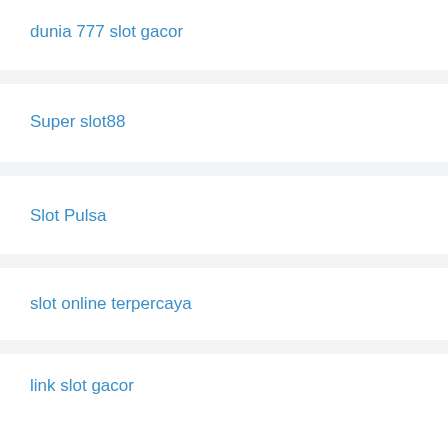dunia 777 slot gacor
Super slot88
Slot Pulsa
slot online terpercaya
link slot gacor